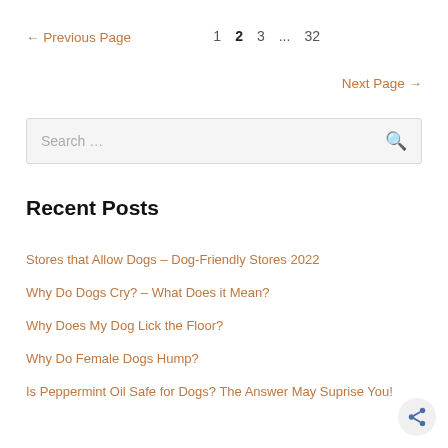← Previous Page    1  2  3  ...  32    Next Page →
[Figure (screenshot): Search input box with magnifying glass icon]
Recent Posts
Stores that Allow Dogs – Dog-Friendly Stores 2022
Why Do Dogs Cry? – What Does it Mean?
Why Does My Dog Lick the Floor?
Why Do Female Dogs Hump?
Is Peppermint Oil Safe for Dogs? The Answer May Suprise You!